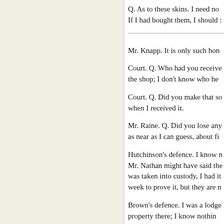Q. As to these skins. I need no. If I had bought them, I should :
Mr. Knapp. It is only such hon
Court. Q. Who had you receive the shop; I don't know who he
Court. Q. Did you make that so when I received it.
Mr. Raine. Q. Did you lose any as near as I can guess, about fi
Hutchinson's defence. I know n Mr. Nathan might have said the was taken into custody, I had it week to prove it, but they are n
Brown's defence. I was a lodge property there; I know nothing